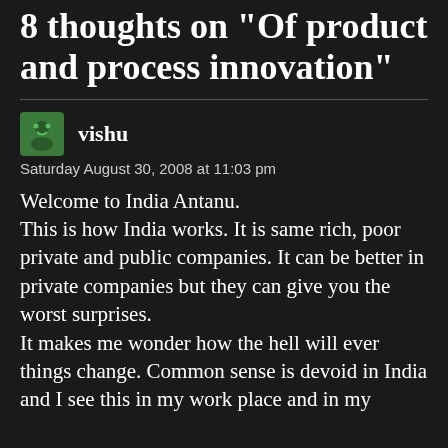8 thoughts on “Of product and process innovation”
vishu
Saturday August 30, 2008 at 11:03 pm
Welcome to India Antanu.
This is how India works. It is same rich, poor private and public companies. It can be better in private companies but they can give you the worst surprises.
It makes me wonder how the hell will ever things change. Common sense is devoid in India
and I see this in my work place and in my